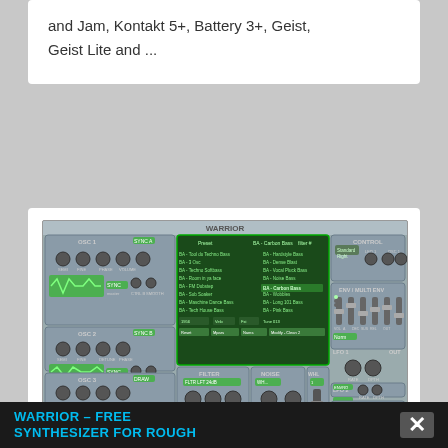and Jam, Kontakt 5+, Battery 3+, Geist, Geist Lite and ...
[Figure (screenshot): Screenshot of the WARRIOR synthesizer plugin interface showing oscillators OSC 1, OSC 2, OSC 3, FILTER, NOISE, AMP ENV sections, a preset browser with bass presets listed, CONTROL, ENV/MULTI ENV, LFO 1, LFO 2, LFO 3 sections, all rendered in a green-on-gray color scheme.]
WARRIOR – FREE SYNTHESIZER FOR ROUGH